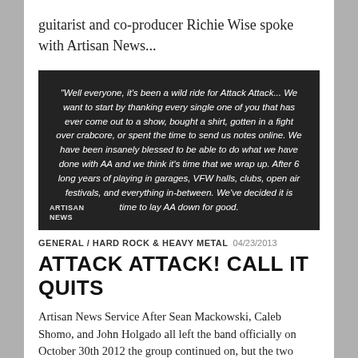guitarist and co-producer Richie Wise spoke with Artisan News...
[Figure (photo): Dark background image with white italic text quote: "Well everyone, it's been a wild ride for Attack Attack... We want to start by thanking every single one of you that has ever come out to a show, bought a shirt, gotten in a fight over crabcore, or spent the time to send us notes online. We have been insanely blessed to be able to do what we have done with AA and we think it's time that we wrap up. After 6 long years of playing in garages, VFW halls, clubs, open air festivals, and everything in-between. We've decided it is time to lay AA down for good." Artisan News watermark visible in lower left.]
GENERAL / HARD ROCK & HEAVY METAL  04/23/2013
ATTACK ATTACK! CALL IT QUITS
Artisan News Service After Sean Mackowski, Caleb Shomo, and John Holgado all left the band officially on October 30th 2012 the group continued on, but the two remaining Andrews have pulled the plug on